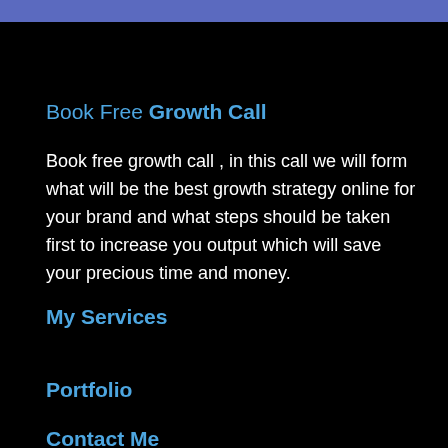Book Free Growth Call
Book free growth call , in this call we will form what will be the best growth strategy online for your brand and what steps should be taken first to increase you output which will save your precious time and money.
My Services
Portfolio
Contact Me